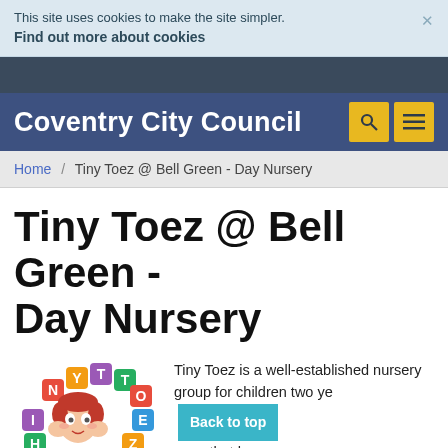This site uses cookies to make the site simpler. Find out more about cookies
Coventry City Council
Home / Tiny Toez @ Bell Green - Day Nursery
Tiny Toez @ Bell Green - Day Nursery
[Figure (logo): Tiny Toez logo with colourful letter blocks arranged in a circle around a cartoon girl]
Tiny Toez is a well-established nursery group for children two ye... over, that has a m...